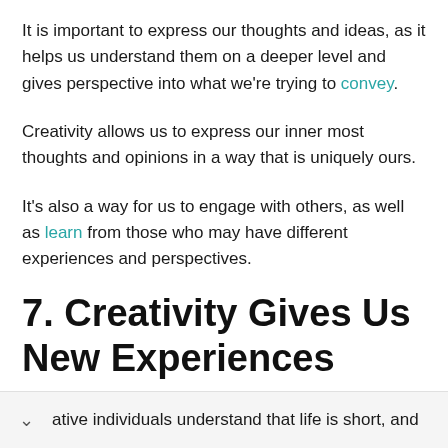It is important to express our thoughts and ideas, as it helps us understand them on a deeper level and gives perspective into what we're trying to convey.
Creativity allows us to express our inner most thoughts and opinions in a way that is uniquely ours.
It's also a way for us to engage with others, as well as learn from those who may have different experiences and perspectives.
7. Creativity Gives Us New Experiences
ative individuals understand that life is short, and